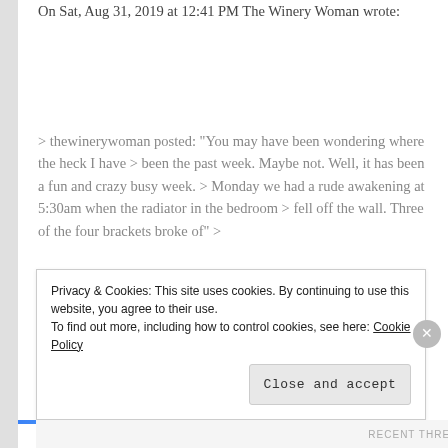On Sat, Aug 31, 2019 at 12:41 PM The Winery Woman wrote:
> thewinerywoman posted: "You may have been wondering where the heck I have > been the past week. Maybe not. Well, it has been a fun and crazy busy week. > Monday we had a rude awakening at 5:30am when the radiator in the bedroom > fell off the wall. Three of the four brackets broke of" >
Liked by 1 person
Reply →
Privacy & Cookies: This site uses cookies. By continuing to use this website, you agree to their use. To find out more, including how to control cookies, see here: Cookie Policy Close and accept